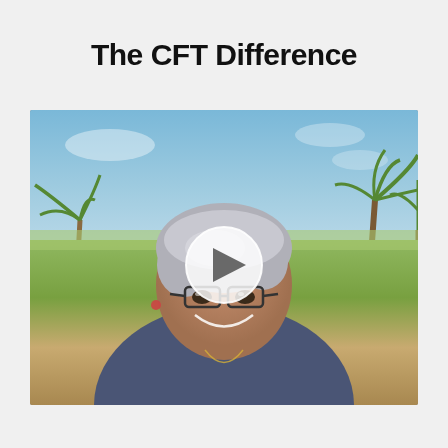The CFT Difference
[Figure (photo): A smiling woman with short gray hair and glasses, seated outdoors with palm trees and blue sky in the background. A video play button overlay is centered on the image.]